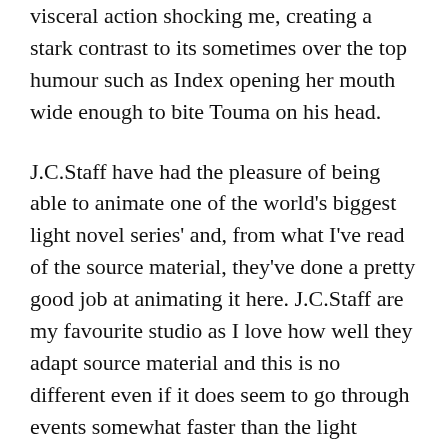visceral action shocking me, creating a stark contrast to its sometimes over the top humour such as Index opening her mouth wide enough to bite Touma on his head.
J.C.Staff have had the pleasure of being able to animate one of the world's biggest light novel series' and, from what I've read of the source material, they've done a pretty good job at animating it here. J.C.Staff are my favourite studio as I love how well they adapt source material and this is no different even if it does seem to go through events somewhat faster than the light novels do. The anime feels well-paced and it takes the time to explain all about Index's unique terms and lore, and the animation itself is crisp and clear. The character design delights and J.C.Staff really bring the action to life with high quality special effects and art